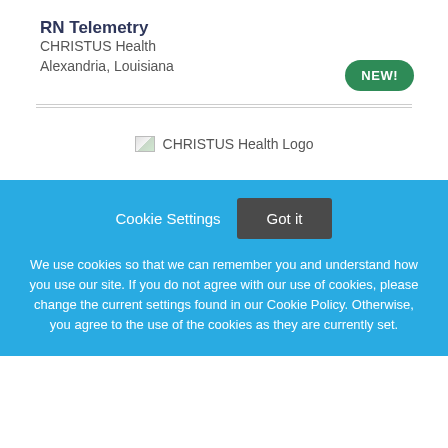RN Telemetry
CHRISTUS Health
Alexandria, Louisiana
[Figure (logo): CHRISTUS Health Logo placeholder image]
Cookie Settings   Got it
We use cookies so that we can remember you and understand how you use our site. If you do not agree with our use of cookies, please change the current settings found in our Cookie Policy. Otherwise, you agree to the use of the cookies as they are currently set.